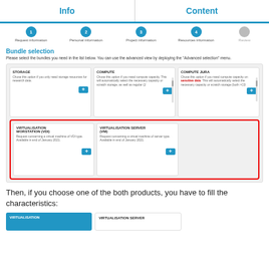Info | Content
[Figure (screenshot): Step progress bar showing: Request information, Personal information, Project information, Resources information, Review]
Bundle selection
Please select the bundles you need in the list below. You can use the advanced view by deploying the "Advanced selection" menu.
[Figure (screenshot): Bundle selection cards: STORAGE, COMPUTE, COMPUTE JURA in top row; VIRTUALISATION WORSTATION (VDI) and VIRTUALISATION SERVER (VM) in bottom row highlighted with red border. Each card has a blue + button.]
Then, if you choose one of the both products, you have to fill the characteristics:
[Figure (screenshot): Preview of VIRTUALISATION and VIRTUALISATION SERVER cards at bottom]